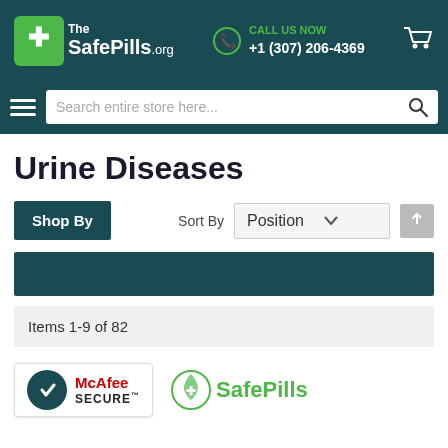[Figure (logo): TheSafePills.org website header with logo, phone number CALL US NOW +1 (307) 206-4369, and shopping cart icon on dark teal background]
[Figure (screenshot): Search bar with hamburger menu icon and search input placeholder 'Search entire store here...']
Urine Diseases
Shop By  |  Sort By  Position
Items 1-9 of 82
[Figure (logo): McAfee SECURE badge with up arrow circle icon, and SafePills logo at bottom]